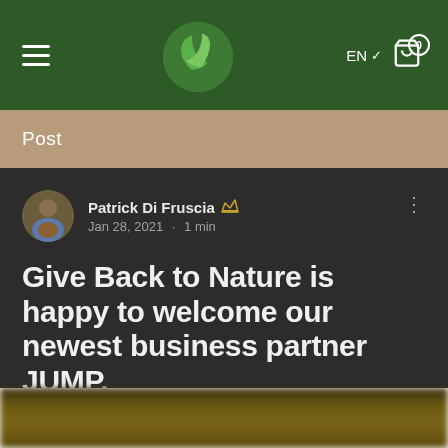Navigation bar with hamburger menu, leaf logo, EN language selector, and cart icon (0 items)
Post
Patrick Di Fuscia 👑
Jan 28, 2021 · 1 min
Give Back to Nature is happy to welcome our newest business partner JUMP.
Updated: Jan 29, 2021
[Figure (photo): Blurred photo strip at the bottom of the page]